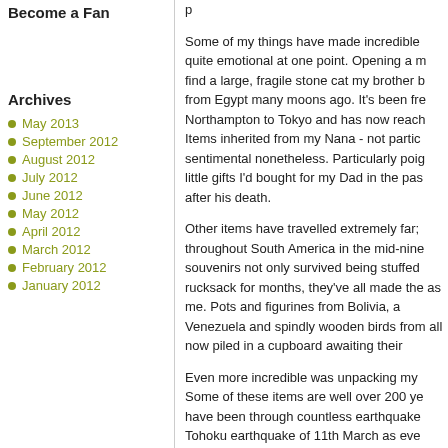Become a Fan
Archives
May 2013
September 2012
August 2012
July 2012
June 2012
May 2012
April 2012
March 2012
February 2012
January 2012
Some of my things have made incredible quite emotional at one point. Opening a m find a large, fragile stone cat my brother b from Egypt many moons ago. It's been fre Northampton to Tokyo and has now reach Items inherited from my Nana - not partic sentimental nonetheless. Particularly poig little gifts I'd bought for my Dad in the pas after his death.
Other items have travelled extremely far; throughout South America in the mid-nine souvenirs not only survived being stuffed rucksack for months, they've all made the as me. Pots and figurines from Bolivia, a Venezuela and spindly wooden birds from all now piled in a cupboard awaiting their
Even more incredible was unpacking my Some of these items are well over 200 ye have been through countless earthquake Tohoku earthquake of 11th March as eve safely in a container by then). All unscath made and so beautiful. But as yet I don't display them properly.